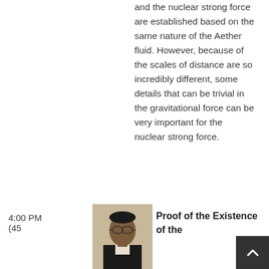and the nuclear strong force are established based on the same nature of the Aether fluid. However, because of the scales of distance are so incredibly different, some details that can be trivial in the gravitational force can be very important for the nuclear strong force.
4:00 PM
(45
[Figure (photo): Portrait photo of a man in a dark suit with glasses]
Proof of the Existence of the